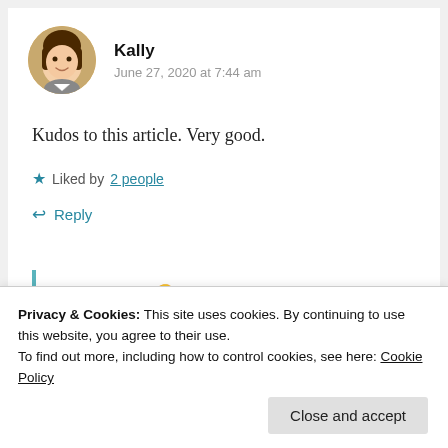Kally
June 27, 2020 at 7:44 am
Kudos to this article. Very good.
Liked by 2 people
Reply
[Figure (screenshot): Nested comment reply area with teal left border]
Thank you 😊!
Privacy & Cookies: This site uses cookies. By continuing to use this website, you agree to their use.
To find out more, including how to control cookies, see here: Cookie Policy
Close and accept